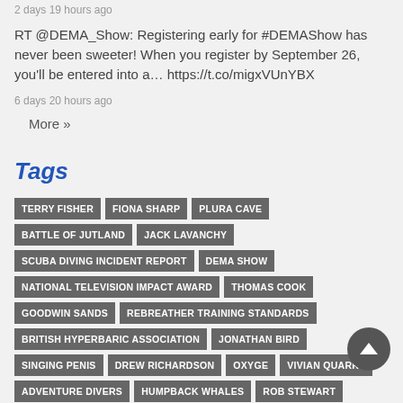2 days 19 hours ago
RT @DEMA_Show: Registering early for #DEMAShow has never been sweeter! When you register by September 26, you'll be entered into a… https://t.co/migxVUnYBX
6 days 20 hours ago
More »
Tags
TERRY FISHER
FIONA SHARP
PLURA CAVE
BATTLE OF JUTLAND
JACK LAVANCHY
SCUBA DIVING INCIDENT REPORT
DEMA SHOW
NATIONAL TELEVISION IMPACT AWARD
THOMAS COOK
GOODWIN SANDS
REBREATHER TRAINING STANDARDS
BRITISH HYPERBARIC ASSOCIATION
JONATHAN BIRD
SINGING PENIS
DREW RICHARDSON
OXYGEN
VIVIAN QUARRY
ADVENTURE DIVERS
HUMPBACK WHALES
ROB STEWART
D-DAY LANDINGS
LONDON DIVING CHAMBER